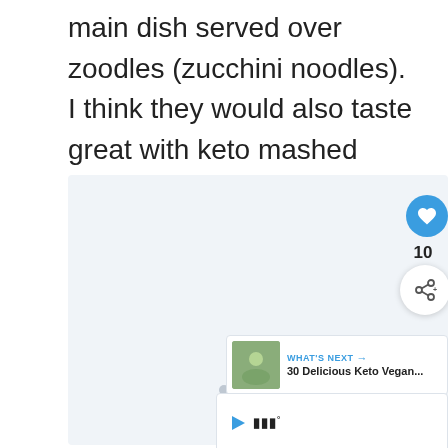main dish served over zoodles (zucchini noodles). I think they would also taste great with keto mashed potatoes!
[Figure (photo): Food image placeholder area with navigation dots and social sharing buttons (heart/like with count 10, share button), a 'What's Next' card showing '30 Delicious Keto Vegan...' with thumbnail, and a video player area with play icon and logo.]